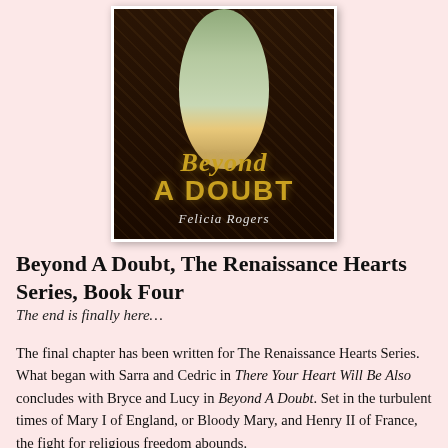[Figure (illustration): Book cover of 'Beyond A Doubt' by Felicia Rogers. Dark background with ornate pattern, a woman in a green dress holding a fan, with gold text reading 'Beyond A Doubt' and author name 'Felicia Rogers' in italic script.]
Beyond A Doubt, The Renaissance Hearts Series, Book Four
The end is finally here…
The final chapter has been written for The Renaissance Hearts Series. What began with Sarra and Cedric in There Your Heart Will Be Also concludes with Bryce and Lucy in Beyond A Doubt. Set in the turbulent times of Mary I of England, or Bloody Mary, and Henry II of France, the fight for religious freedom abounds. It is a tale of romance, and loss of life and, though…